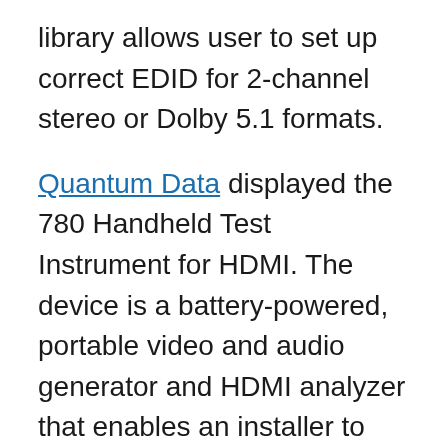library allows user to set up correct EDID for 2-channel stereo or Dolby 5.1 formats.
Quantum Data displayed the 780 Handheld Test Instrument for HDMI. The device is a battery-powered, portable video and audio generator and HDMI analyzer that enables an installer to conduct quick, on-site verification testing and troubleshooting of a HDMI system and analog video displays. The 780 is